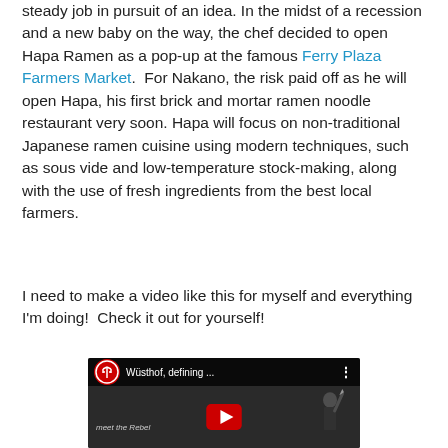steady job in pursuit of an idea. In the midst of a recession and a new baby on the way, the chef decided to open Hapa Ramen as a pop-up at the famous Ferry Plaza Farmers Market.  For Nakano, the risk paid off as he will open Hapa, his first brick and mortar ramen noodle restaurant very soon. Hapa will focus on non-traditional Japanese ramen cuisine using modern techniques, such as sous vide and low-temperature stock-making, along with the use of fresh ingredients from the best local farmers.
I need to make a video like this for myself and everything I'm doing!  Check it out for yourself!
[Figure (screenshot): YouTube video embed showing Wüsthof branded video titled 'Wüsthof, defining ...' with subtitle 'meet the Rebel', featuring a bald man holding a knife against a dark background, with a red YouTube play button in the center.]